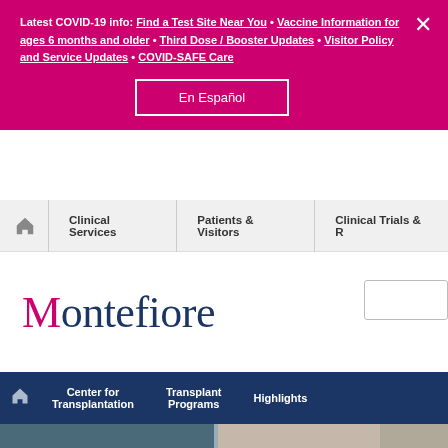Latest COVID-19 info: Find a Test Site Near You • Vaccine Information for ages 6 months and older • Third Dose / Booster Updates • Visitor Policy and Service Updates • COVID-SAFE Care
En Español
Clinical Services   Patients & Visitors   Clinical Trials & R
[Figure (logo): Montefiore logo in dark navy and magenta]
Center for Transplantation   Transplant Programs   Highlights
[Figure (photo): Hospital/medical setting photo showing surgical team and equipment]